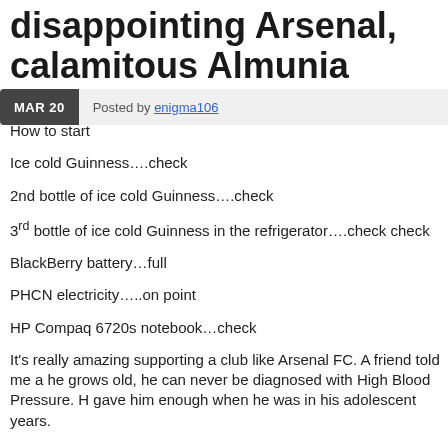disappointing Arsenal, calamitous Almunia
MAR 20   Posted by enigma106
How to start
Ice cold Guinness….check
2nd bottle of ice cold Guinness….check
3rd bottle of ice cold Guinness in the refrigerator….check check
BlackBerry battery…full
PHCN electricity…..on point
HP Compaq 6720s notebook…check
It's really amazing supporting a club like Arsenal FC. A friend told me a he grows old, he can never be diagnosed with High Blood Pressure. H gave him enough when he was in his adolescent years.